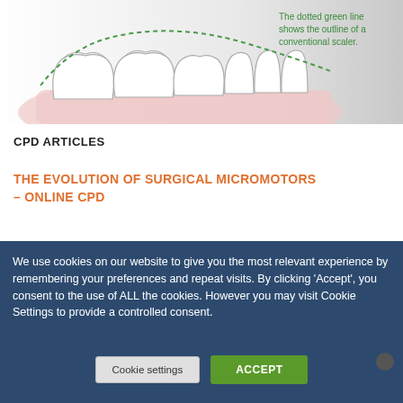[Figure (illustration): Dental illustration showing teeth with a green dotted line indicating the outline of a conventional scaler. Text caption: 'The dotted green line shows the outline of a conventional scaler.']
CPD ARTICLES
THE EVOLUTION OF SURGICAL MICROMOTORS – ONLINE CPD
COMPOSITE RESTORATIONS AND MAINTENANCE – BEFORE AND AFTER – ONLINE CPD –
HANDPIECES – ONLINE
We use cookies on our website to give you the most relevant experience by remembering your preferences and repeat visits. By clicking 'Accept', you consent to the use of ALL the cookies. However you may visit Cookie Settings to provide a controlled consent.